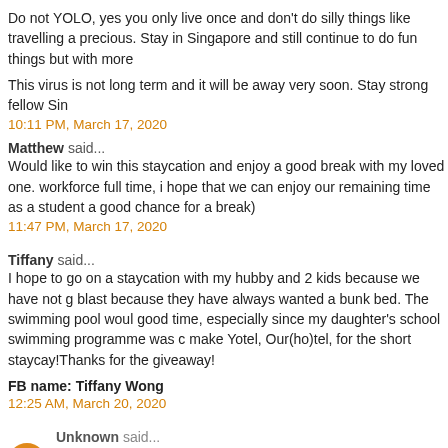Do not YOLO, yes you only live once and don't do silly things like travelling a precious. Stay in Singapore and still continue to do fun things but with more
This virus is not long term and it will be away very soon. Stay strong fellow Sin
10:11 PM, March 17, 2020
Matthew said...
Would like to win this staycation and enjoy a good break with my loved one. workforce full time, i hope that we can enjoy our remaining time as a student a good chance for a break)
11:47 PM, March 17, 2020
Tiffany said...
I hope to go on a staycation with my hubby and 2 kids because we have not g blast because they have always wanted a bunk bed. The swimming pool woul good time, especially since my daughter's school swimming programme was c make Yotel, Our(ho)tel, for the short staycay!Thanks for the giveaway!
FB name: Tiffany Wong
12:25 AM, March 20, 2020
Unknown said...
My family and I love staycation. :) It is like embarking on a fantastic mini holi indulging ourselves in the beautiful pool and the sun !! The kids love the pool to reward them for their hard work in the exams :) Most important of all it is
1:36 AM, March 20, 2020
yan xin said...
Chanced upon your blog post today and thought I'd give this a shot :)